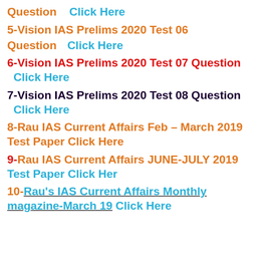Question    Click Here
5-Vision IAS Prelims 2020 Test 06
Question    Click Here
6-Vision IAS Prelims 2020 Test 07 Question  Click Here
7-Vision IAS Prelims 2020 Test 08 Question  Click Here
8-Rau IAS Current Affairs Feb – March 2019 Test Paper Click Here
9-Rau IAS Current Affairs JUNE-JULY 2019 Test Paper Click Her
10-Rau's IAS Current Affairs Monthly magazine-March 19 Click Here